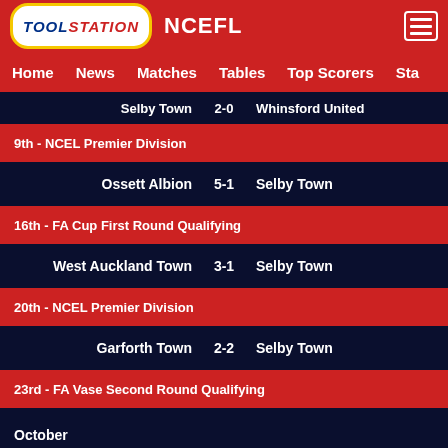TOOLSTATION NCEFL — Home | News | Matches | Tables | Top Scorers | Sta...
Selby Town 2-0 Whinsford United
9th - NCEL Premier Division
| Home | Score | Away |
| --- | --- | --- |
| Ossett Albion | 5-1 | Selby Town |
16th - FA Cup First Round Qualifying
| Home | Score | Away |
| --- | --- | --- |
| West Auckland Town | 3-1 | Selby Town |
20th - NCEL Premier Division
| Home | Score | Away |
| --- | --- | --- |
| Garforth Town | 2-2 | Selby Town |
23rd - FA Vase Second Round Qualifying
| Home | Score | Away |
| --- | --- | --- |
| Selby Town | 2-0 | Atherton Collieries |
30th - NCEL Premier Division
| Home | Score | Away |
| --- | --- | --- |
| Selby Town | 5-5 | Arnold Town |
October